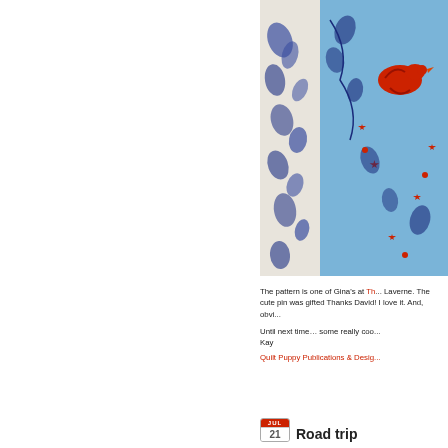[Figure (photo): Close-up photograph of quilting fabric with blue floral pattern on light blue background with red bird and red star motifs]
The pattern is one of Gina's at Th... Laverne. The cute pin was gifted... Thanks David! I love it. And, obvi...
Until next time… some really coo... Kay
Quilt Puppy Publications & Desig...
Road trip